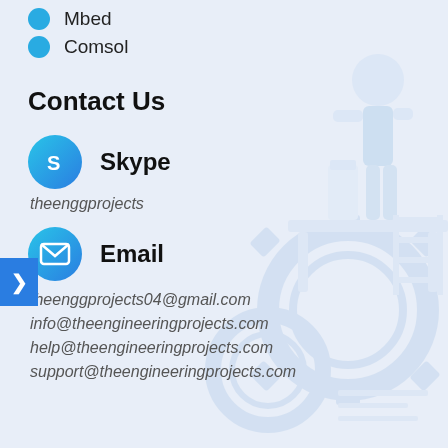Mbed
Comsol
Contact Us
Skype
theenggprojects
Email
theenggprojects04@gmail.com
info@theengineeringprojects.com
help@theengineeringprojects.com
support@theengineeringprojects.com